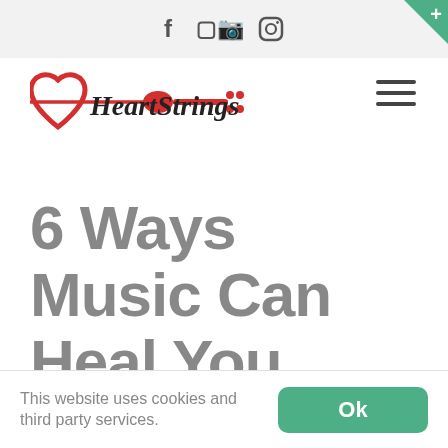Social icons: Facebook, Instagram
[Figure (logo): HeartStrings logo with red heart and guitar silhouette]
6 Ways Music Can Heal You
Home / Music Heals / 6 Ways Music Can Heal You
[Figure (photo): Dark concert scene with bright golden stage light]
This website uses cookies and third party services.